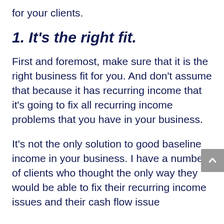for your clients.
1. It's the right fit.
First and foremost, make sure that it is the right business fit for you. And don't assume that because it has recurring income that it's going to fix all recurring income problems that you have in your business.
It's not the only solution to good baseline income in your business. I have a number of clients who thought the only way they would be able to fix their recurring income issues and their cash flow issue